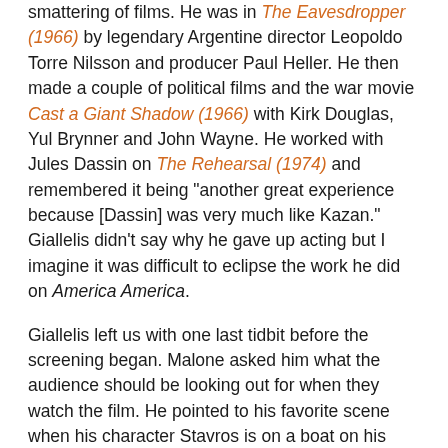smattering of films. He was in The Eavesdropper (1966) by legendary Argentine director Leopoldo Torre Nilsson and producer Paul Heller. He then made a couple of political films and the war movie Cast a Giant Shadow (1966) with Kirk Douglas, Yul Brynner and John Wayne. He worked with Jules Dassin on The Rehearsal (1974) and remembered it being "another great experience because [Dassin] was very much like Kazan." Giallelis didn't say why he gave up acting but I imagine it was difficult to eclipse the work he did on America America.
Giallelis left us with one last tidbit before the screening began. Malone asked him what the audience should be looking out for when they watch the film. He pointed to his favorite scene when his character Stavros is on a boat on his way to America. He contemplates the tough journey that brought him there and says when he arrives at his destination that he will be washed clean again.
Out of all of the films I saw at the 2017 TCM Classic Film Festival, this was the one I was the most excited about. I wish it had been a packed house but the film was in a tricky